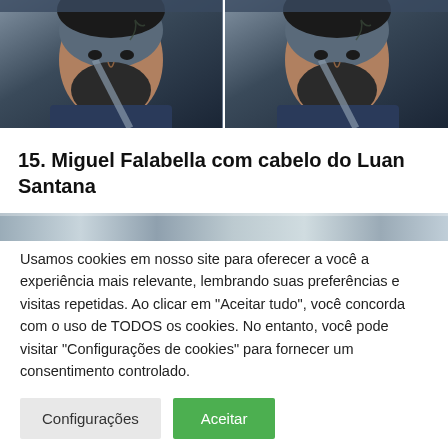[Figure (photo): Two side-by-side photos of a man with dark beard wearing a dark blue shirt and seatbelt, with a tattoo visible on his neck]
15. Miguel Falabella com cabelo do Luan Santana
[Figure (photo): Partial view of another image, cropped at top]
Usamos cookies em nosso site para oferecer a você a experiência mais relevante, lembrando suas preferências e visitas repetidas. Ao clicar em "Aceitar tudo", você concorda com o uso de TODOS os cookies. No entanto, você pode visitar "Configurações de cookies" para fornecer um consentimento controlado.
Configurações | Aceitar